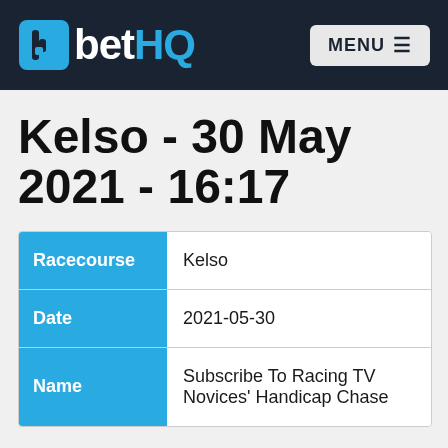betHQ — MENU
Kelso - 30 May 2021 - 16:17
| Field | Value |
| --- | --- |
| Racecourse | Kelso |
| Date | 2021-05-30 |
| Name | Subscribe To Racing TV Novices' Handicap Chase |